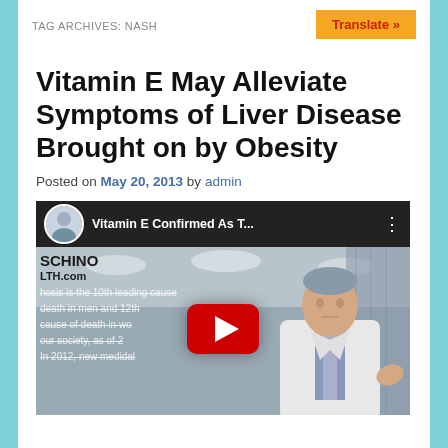TAG ARCHIVES: NASH
Vitamin E May Alleviate Symptoms of Liver Disease Brought on by Obesity
Posted on May 20, 2013 by admin
[Figure (screenshot): YouTube video thumbnail showing a doctor in a white coat. Header bar shows avatar photo, title 'Vitamin E Confirmed As T...' with three-dot menu. The video content shows channel branding 'SCHINO LTH.com', text overlay about cirrhosis being leading cause of death, and a red YouTube play button in the center.]